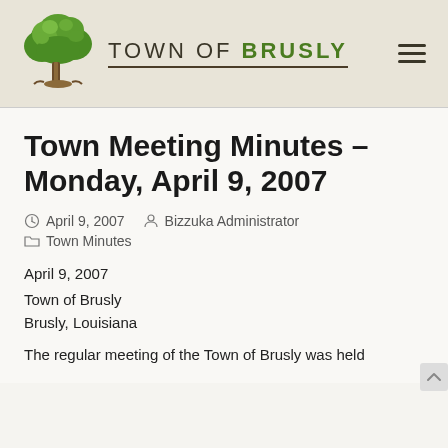TOWN OF BRUSLY
Town Meeting Minutes – Monday, April 9, 2007
April 9, 2007  Bizzuka Administrator  Town Minutes
April 9, 2007
Town of Brusly
Brusly, Louisiana
The regular meeting of the Town of Brusly was held